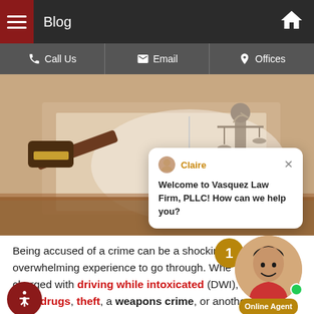Blog
[Figure (screenshot): Navigation bar with hamburger menu, Blog label, and home icon on dark background]
[Figure (photo): Legal themed photo showing a judge gavel, open books, and Lady Justice statue on wooden surface, with a chat popup overlay from Claire at Vasquez Law Firm PLLC saying Welcome to Vasquez Law Firm, PLLC! How can we help you?]
Being accused of a crime can be a shocking and overwhelming experience to go through. Whether charged with driving while intoxicated (DWI), possessing illicit drugs, theft, a weapons crime, or another offense,